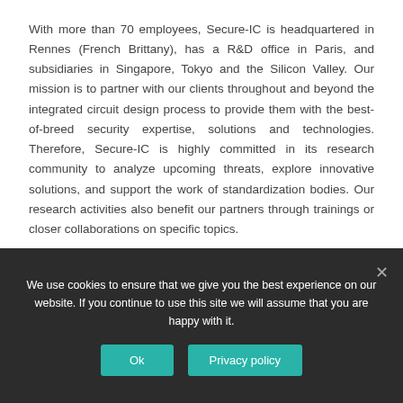With more than 70 employees, Secure-IC is headquartered in Rennes (French Brittany), has a R&D office in Paris, and subsidiaries in Singapore, Tokyo and the Silicon Valley. Our mission is to partner with our clients throughout and beyond the integrated circuit design process to provide them with the best-of-breed security expertise, solutions and technologies. Therefore, Secure-IC is highly committed in its research community to analyze upcoming threats, explore innovative solutions, and support the work of standardization bodies. Our research activities also benefit our partners through trainings or closer collaborations on specific topics.
We use cookies to ensure that we give you the best experience on our website. If you continue to use this site we will assume that you are happy with it.